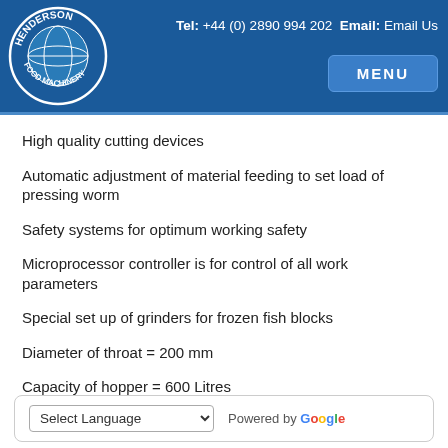Henderson Food Machinery | Tel: +44 (0) 2890 994 202 | Email: Email Us | MENU
High quality cutting devices
Automatic adjustment of material feeding to set load of pressing worm
Safety systems for optimum working safety
Microprocessor controller is for control of all work parameters
Special set up of grinders for frozen fish blocks
Diameter of throat = 200 mm
Capacity of hopper = 600 Litres
M...